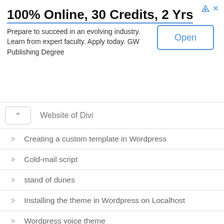[Figure (screenshot): Advertisement banner: 100% Online, 30 Credits, 2 Yrs with Open button]
100% Online, 30 Credits, 2 Yrs
Prepare to succeed in an evolving industry. Learn from expert faculty. Apply today. GW Publishing Degree
Website of Divi
Creating a custom template in Wordpress
Cold-mail script
stand of dunes
Installing the theme in Wordpress on Localhost
Wordpress voice theme
Pro Duda
advertising
Topics Premium Wordpress
News from Avada
The Godaddy Email Service
Town Max